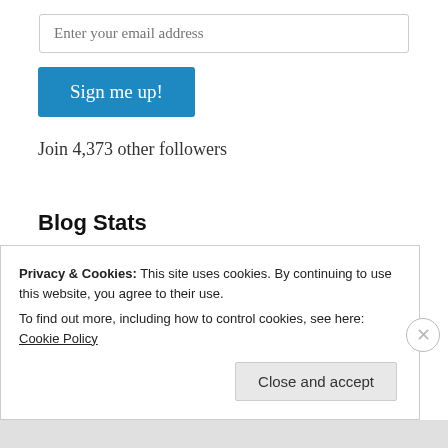[Figure (screenshot): Email input field with placeholder text 'Enter your email address']
[Figure (screenshot): Blue 'Sign me up!' button]
Join 4,373 other followers
Blog Stats
499,388 hits
Privacy & Cookies: This site uses cookies. By continuing to use this website, you agree to their use.
To find out more, including how to control cookies, see here: Cookie Policy
Close and accept